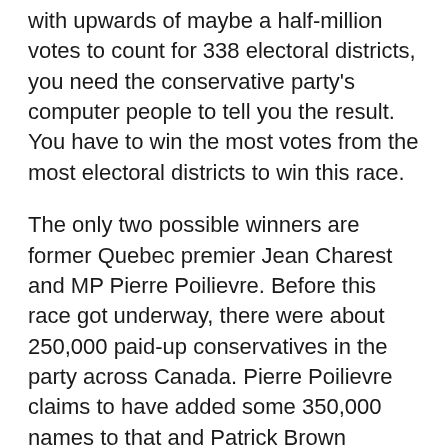with upwards of maybe a half-million votes to count for 338 electoral districts, you need the conservative party's computer people to tell you the result. You have to win the most votes from the most electoral districts to win this race.
The only two possible winners are former Quebec premier Jean Charest and MP Pierre Poilievre. Before this race got underway, there were about 250,000 paid-up conservatives in the party across Canada. Pierre Poilievre claims to have added some 350,000 names to that and Patrick Brown contributed more than 100,000 before leaving the race.
While logic tells you that Pierre Poilievre is sitting in the cat-bird seat, you are assuming that his temporary sign-ups are as motivated to vote as long-time conservatives. If for example, his